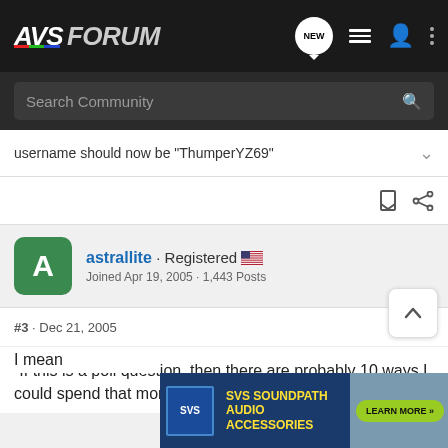AVSForum
Search Community
username should now be "ThumperYZ69"
astrallite · Registered
Joined Apr 19, 2005 · 1,443 Posts
#3 · Dec 21, 2005
“If this is a poll question, then there are probably 10 ways I could spend that money...
I mean
[Figure (screenshot): SVS Soundpath Audio Accessories advertisement banner with learn more button]